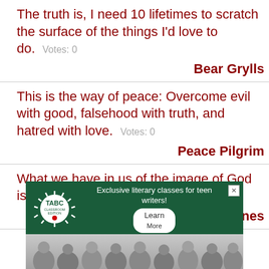The truth is, I need 10 lifetimes to scratch the surface of the things I'd love to do.   Votes: 0
Bear Grylls
This is the way of peace: Overcome evil with good, falsehood with truth, and hatred with love.   Votes: 0
Peace Pilgrim
What we have in us of the image of God is the love of truth and justice.   Votes: 0
Demosthenes
[Figure (other): Advertisement banner for TABC Classroom Edition — Exclusive literary classes for teen writers, with a Learn More button, on a dark green background, with a photo of people below.]